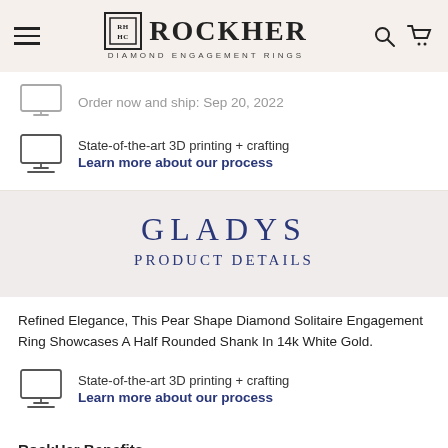RockHer Diamond Engagement Rings
Order now and ship: Sep 20, 2022
State-of-the-art 3D printing + crafting
Learn more about our process
GLADYS
PRODUCT DETAILS
Refined Elegance, This Pear Shape Diamond Solitaire Engagement Ring Showcases A Half Rounded Shank In 14k White Gold.
State-of-the-art 3D printing + crafting
Learn more about our process
RockHer Benefits